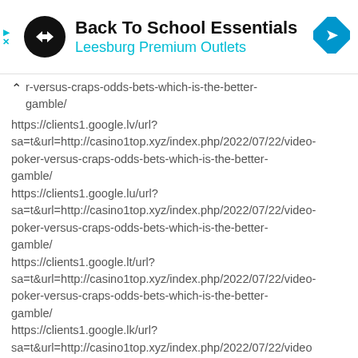[Figure (infographic): Ad banner for Back To School Essentials at Leesburg Premium Outlets with circular black logo with arrow icon and blue diamond navigation icon]
r-versus-craps-odds-bets-which-is-the-better-gamble/
https://clients1.google.lv/url?
sa=t&url=http://casino1top.xyz/index.php/2022/07/22/video-poker-versus-craps-odds-bets-which-is-the-better-gamble/
https://clients1.google.lu/url?
sa=t&url=http://casino1top.xyz/index.php/2022/07/22/video-poker-versus-craps-odds-bets-which-is-the-better-gamble/
https://clients1.google.lt/url?
sa=t&url=http://casino1top.xyz/index.php/2022/07/22/video-poker-versus-craps-odds-bets-which-is-the-better-gamble/
https://clients1.google.lk/url?
sa=t&url=http://casino1top.xyz/index.php/2022/07/22/video